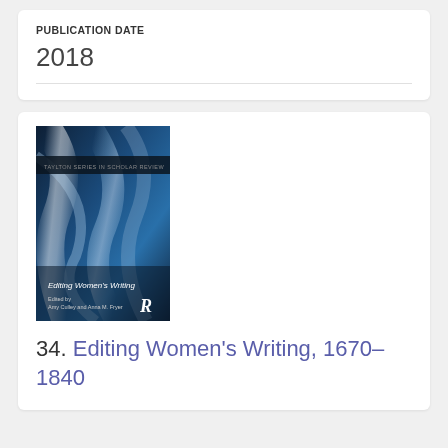PUBLICATION DATE
2018
[Figure (photo): Book cover of 'Editing Women's Writing' edited by Amy Culley and Anna M. Fitzer, published by Routledge. Blue abstract flowing fabric design on cover.]
34. Editing Women's Writing, 1670–1840